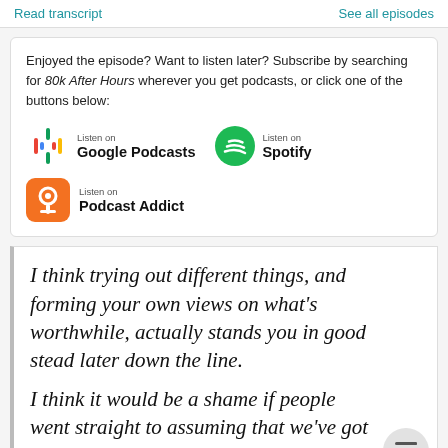Read transcript   See all episodes
Enjoyed the episode? Want to listen later? Subscribe by searching for 80k After Hours wherever you get podcasts, or click one of the buttons below:
[Figure (logo): Google Podcasts listen button logo]
[Figure (logo): Spotify listen button logo]
[Figure (logo): Podcast Addict listen button logo]
I think trying out different things, and forming your own views on what's worthwhile, actually stands you in good stead later down the line.
I think it would be a shame if people went straight to assuming that we've got it all